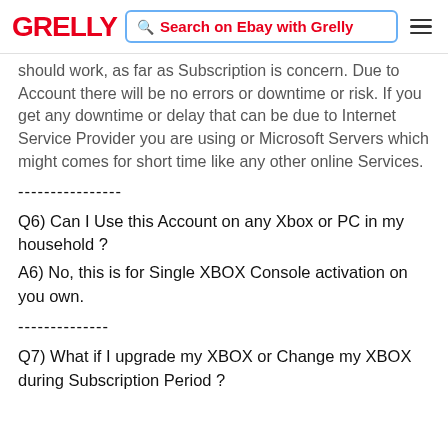GRELLY | Search on Ebay with Grelly
should work, as far as Subscription is concern. Due to Account there will be no errors or downtime or risk. If you get any downtime or delay that can be due to Internet Service Provider you are using or Microsoft Servers which might comes for short time like any other online Services.
----------------
Q6) Can I Use this Account on any Xbox or PC in my household ?
A6) No, this is for Single XBOX Console activation on you own.
--------------
Q7) What if I upgrade my XBOX or Change my XBOX during Subscription Period ?